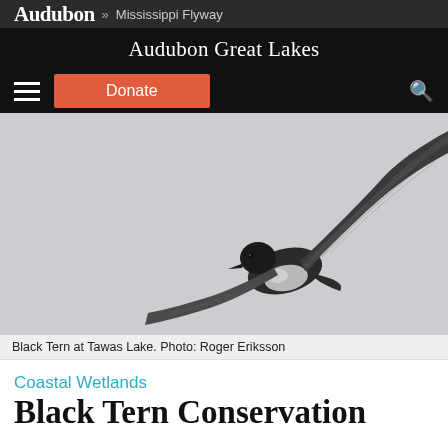Audubon » Mississippi Flyway
Audubon Great Lakes
[Figure (photo): A Black Tern bird in flight against a light grey sky, wings spread upward, dark body with speckled white underparts, photographed at Tawas Lake by Roger Eriksson.]
Black Tern at Tawas Lake. Photo: Roger Eriksson
Coastal Wetlands
Black Tern Conservation